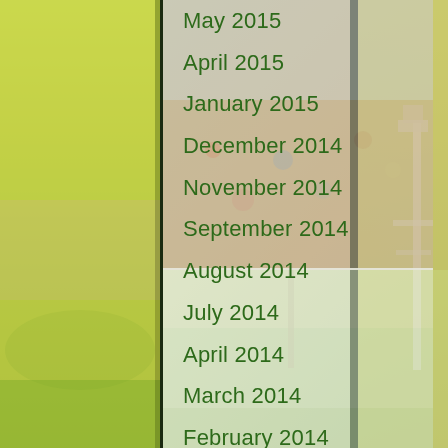[Figure (photo): Background image of a cricket/sports stadium with crowds, field, and floodlight towers. Left side has a yellow-green tinted photo of a cricket ground. Right side shows floodlight towers. Center panel overlays the menu list.]
May 2015
April 2015
January 2015
December 2014
November 2014
September 2014
August 2014
July 2014
April 2014
March 2014
February 2014
January 2014
December 2013
November 2013
October 2013